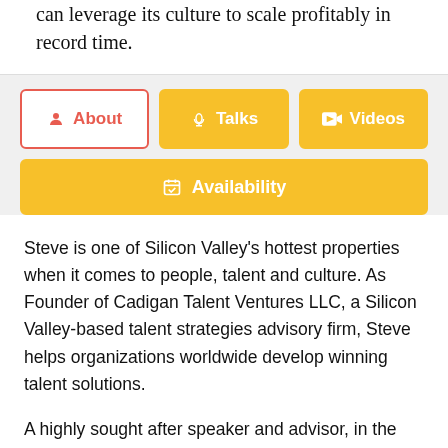can leverage its culture to scale profitably in record time.
[Figure (screenshot): Navigation tab bar with About (selected, red border), Talks, Videos, and Availability buttons in yellow/gold color]
Steve is one of Silicon Valley's hottest properties when it comes to people, talent and culture. As Founder of Cadigan Talent Ventures LLC, a Silicon Valley-based talent strategies advisory firm, Steve helps organizations worldwide develop winning talent solutions.
A highly sought after speaker and advisor, in the last few years, Steve has delivered conferences